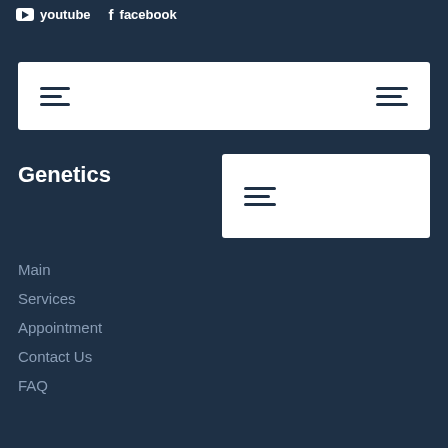youtube
facebook
[Figure (screenshot): White navigation bar with two hamburger menu icons on left and right sides]
Genetics
[Figure (screenshot): White box with hamburger menu icon]
Main
Services
Appointment
Contact Us
FAQ